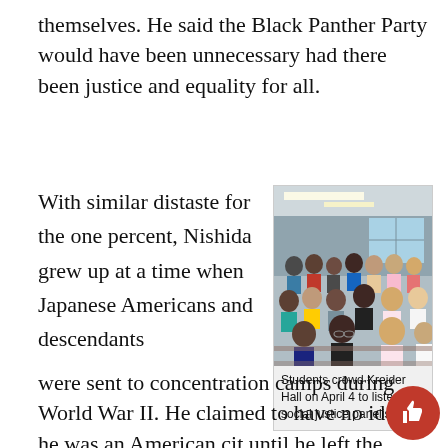themselves. He said the Black Panther Party would have been unnecessary had there been justice and equality for all.
With similar distaste for the one percent, Nishida grew up at a time when Japanese Americans and descendants
[Figure (photo): Students crowded in a lecture hall (Kreider Hall), sitting in rows with notebooks, listening to panelists.]
Students crowd Kreider Hall on April 4 to listen to social justice panelists.
were sent to concentration camps during World War II. He claimed to have no idea he was an American cit until he left the concentration camps and joined th